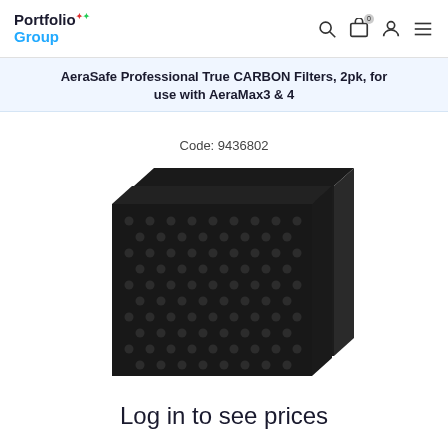Portfolio Group
AeraSafe Professional True CARBON Filters, 2pk, for use with AeraMax3 & 4
Code: 9436802
[Figure (photo): Two black carbon air filters with honeycomb texture pattern, stacked slightly offset, for AeraMax3 & 4 air purifiers]
Log in to see prices